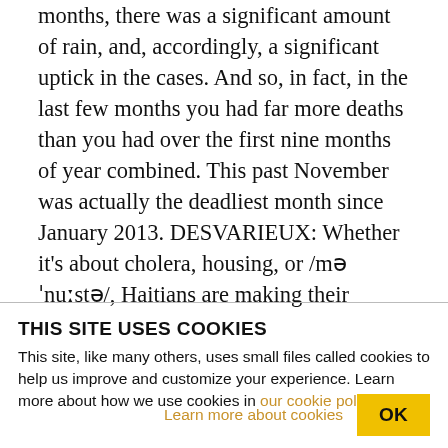months, there was a significant amount of rain, and, accordingly, a significant uptick in the cases. And so, in fact, in the last few months you had far more deaths than you had over the first nine months of year combined. This past November was actually the deadliest month since January 2013. DESVARIEUX: Whether it's about cholera, housing, or /məˈnuːstə/, Haitians are making their voices heard on the street. And if the Martelly government does not come up with a solution to hold elections by January 12, Martelly will be allowed to rule by decree, a move
THIS SITE USES COOKIES
This site, like many others, uses small files called cookies to help us improve and customize your experience. Learn more about how we use cookies in our cookie policy.
Learn more about cookies
OK